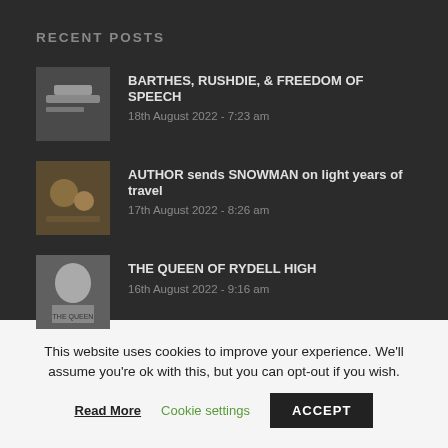RECENT POSTS
BARTHES, RUSHDIE, & FREEDOM OF SPEECH
18th August 2022 - 7:23 am
AUTHOR sends SNOWMAN on light years of travel
17th August 2022 - 8:26 am
THE QUEEN OF RYDELL HIGH
16th August 2022 - 9:16 am
This website uses cookies to improve your experience. We'll assume you're ok with this, but you can opt-out if you wish.
Read More  Cookie settings  ACCEPT